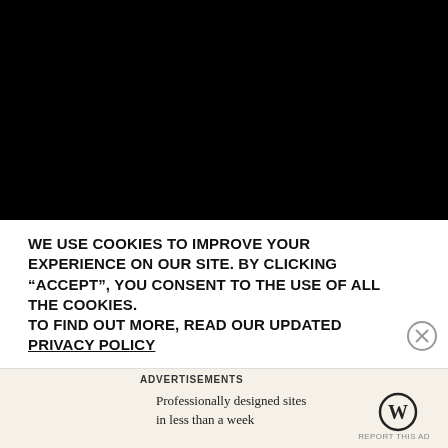[Figure (photo): Black screen / dark video area occupying the top portion of the page]
WE USE COOKIES TO IMPROVE YOUR EXPERIENCE ON OUR SITE. BY CLICKING “ACCEPT”, YOU CONSENT TO THE USE OF ALL THE COOKIES.
TO FIND OUT MORE, READ OUR UPDATED PRIVACY POLICY
ADVERTISEMENTS
Professionally designed sites in less than a week
[Figure (logo): WordPress logo (W in circle)]
REPORT THIS AD